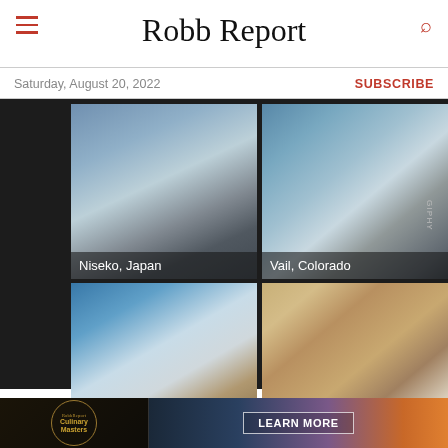Robb Report
Saturday, August 20, 2022
SUBSCRIBE
[Figure (infographic): Four-panel grid showing ski destinations: Niseko Japan (snowy mountain), Vail Colorado (ski slope), Whistler Canada (ice sculpture), Deer Valley Utah (hotel building in snow). Bottom bar shows voters: 241 and APESTER logo.]
[Figure (photo): Partial bottom strip showing wooden architecture, partially cut off]
[Figure (infographic): Advertisement bar: Robb Report Culinary Masters logo on left, LEARN MORE button on right with scenic background]